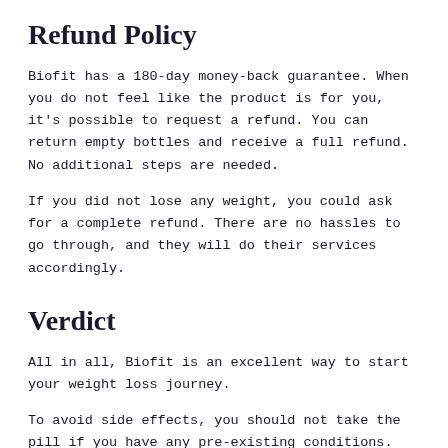Refund Policy
Biofit has a 180-day money-back guarantee. When you do not feel like the product is for you, it's possible to request a refund. You can return empty bottles and receive a full refund. No additional steps are needed.
If you did not lose any weight, you could ask for a complete refund. There are no hassles to go through, and they will do their services accordingly.
Verdict
All in all, Biofit is an excellent way to start your weight loss journey.
To avoid side effects, you should not take the pill if you have any pre-existing conditions. Some of the strains present can